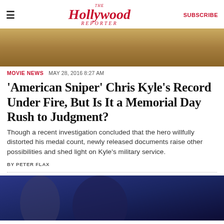The Hollywood Reporter  SUBSCRIBE
[Figure (photo): Top banner image, outdoor field scene with warm golden tones]
MOVIE NEWS  MAY 28, 2016 8:27 AM
'American Sniper' Chris Kyle's Record Under Fire, But Is It a Memorial Day Rush to Judgment?
Though a recent investigation concluded that the hero willfully distorted his medal count, newly released documents raise other possibilities and shed light on Kyle's military service.
BY PETER FLAX
[Figure (photo): Woman with dark hair at what appears to be an award ceremony or television broadcast, dark blue background]